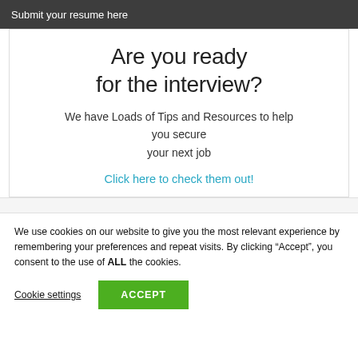Submit your resume here
Are you ready for the interview?
We have Loads of Tips and Resources to help you secure your next job
Click here to check them out!
We use cookies on our website to give you the most relevant experience by remembering your preferences and repeat visits. By clicking “Accept”, you consent to the use of ALL the cookies.
Cookie settings
ACCEPT